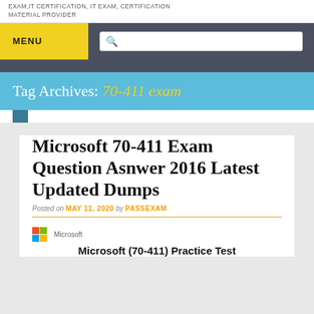EXAM,IT CERTIFICATION, IT EXAM, CERTIFICATION MATERIAL PROVIDER
MENU
Tag Archives: 70-411 exam
Microsoft 70-411 Exam Question Asnwer 2016 Latest Updated Dumps
Posted on MAY 11, 2020 by PASSEXAM
[Figure (logo): Microsoft logo with four colored squares and Microsoft text, followed by bold text 'Microsoft (70-411) Practice Test']